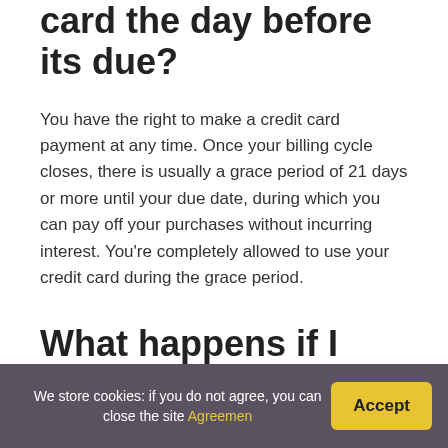card the day before its due?
You have the right to make a credit card payment at any time. Once your billing cycle closes, there is usually a grace period of 21 days or more until your due date, during which you can pay off your purchases without incurring interest. You're completely allowed to use your credit card during the grace period.
What happens if I pay my credit card before
We store cookies: if you do not agree, you can close the site Agreemen